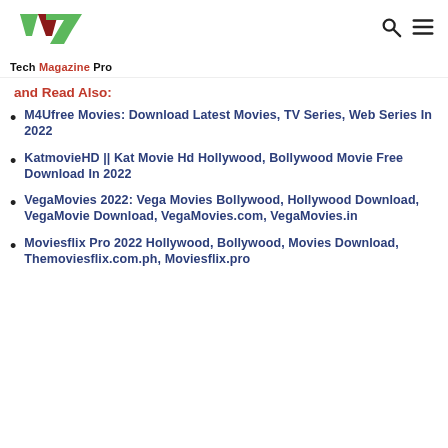Tech Magazine Pro
and Read Also:
M4Ufree Movies: Download Latest Movies, TV Series, Web Series In 2022
KatmovieHD || Kat Movie Hd Hollywood, Bollywood Movie Free Download In 2022
VegaMovies 2022: Vega Movies Bollywood, Hollywood Download, VegaMovie Download, VegaMovies.com, VegaMovies.in
Moviesflix Pro 2022 Hollywood, Bollywood, Movies Download, Themoviesflix.com.ph, Moviesflix.pro